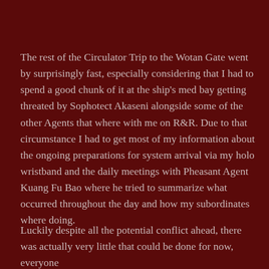The rest of the Circulator Trip to the Wotan Gate went by surprisingly fast, especially considering that I had to spend a good chunk of it at the ship's med bay getting threated by Sophotect Akaseni alongside some of the other Agents that where with me on R&R. Due to that circumstance I had to get most of my information about the ongoing preparations for system arrival via my holo wristband and the daily meetings with Pheasant Agent Kuang Fu Bao where he tried to summarize what occurred throughout the day and how my subordinates where doing.
Luckily despite all the potential conflict ahead, there was actually very little that could be done for now, everyone broke the ship rules and became a fighting it with...